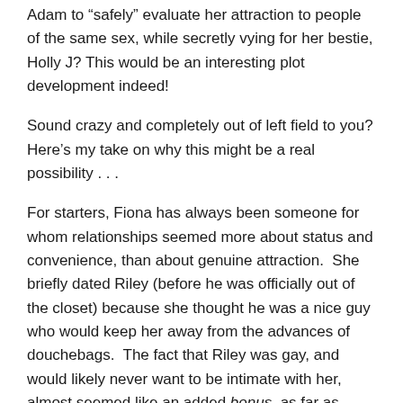Adam to “safely” evaluate her attraction to people of the same sex, while secretly vying for her bestie, Holly J? This would be an interesting plot development indeed!
Sound crazy and completely out of left field to you? Here’s my take on why this might be a real possibility . . .
For starters, Fiona has always been someone for whom relationships seemed more about status and convenience, than about genuine attraction. She briefly dated Riley (before he was officially out of the closet) because she thought he was a nice guy who would keep her away from the advances of douchebags. The fact that Riley was gay, and would likely never want to be intimate with her, almost seemed like an added bonus, as far as Fiona was concerned.